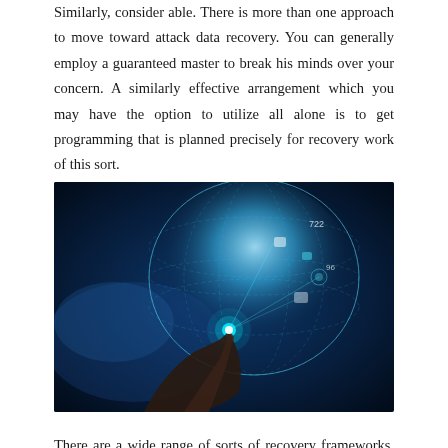Similarly, consider able. There is more than one approach to move toward attack data recovery. You can generally employ a guaranteed master to break his minds over your concern. A similarly effective arrangement which you may have the option to utilize all alone is to get programming that is planned precisely for recovery work of this sort.
[Figure (photo): A hand touching a glowing digital globe with holographic icons and data visualizations, set against a blue city skyline background. The image conveys technology, data, and connectivity themes.]
There are a wide range of sorts of recovery frameworks. You